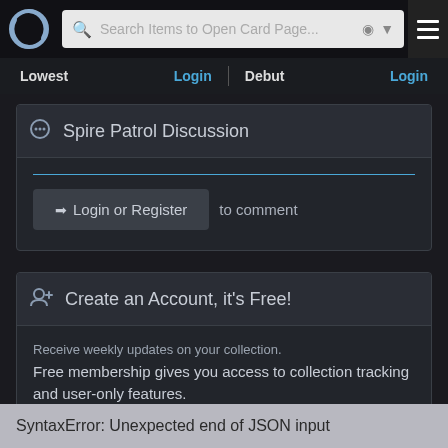[Figure (screenshot): Top navigation bar with circular logo, search bar reading 'Search Items to Open Card Page...' with icons, and hamburger menu button]
Lowest    Login    Debut    Login
Spire Patrol Discussion
Login or Register to comment
Create an Account, it's Free!
Receive weekly updates on your collection.
Free membership gives you access to collection tracking and user-only features.
Create an Account
SyntaxError: Unexpected end of JSON input